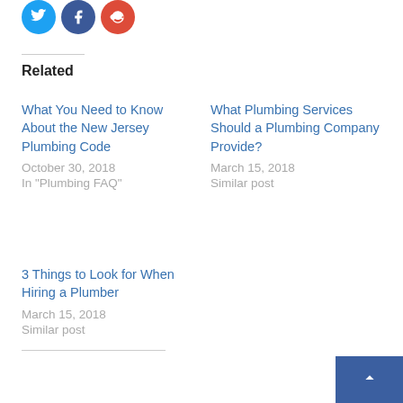[Figure (illustration): Three social media icon circles: Twitter (blue), Facebook (dark blue), Google+ (red)]
Related
What You Need to Know About the New Jersey Plumbing Code
October 30, 2018
In "Plumbing FAQ"
What Plumbing Services Should a Plumbing Company Provide?
March 15, 2018
Similar post
3 Things to Look for When Hiring a Plumber
March 15, 2018
Similar post